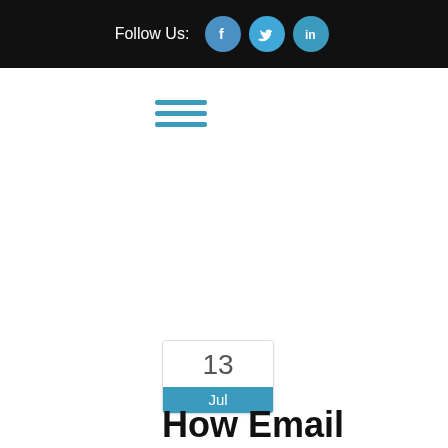Follow Us:
[Figure (other): Hamburger menu icon with three teal horizontal lines]
[Figure (other): Date badge showing 13 Jul]
How Email